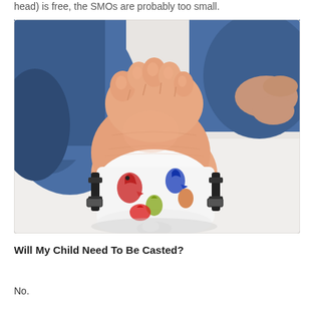head) is free, the SMOs are probably too small.
[Figure (photo): Close-up photo of the bottom of a young child's foot wearing a white SMO (supra-malleolar orthosis) brace with colorful dinosaur print pattern. The brace has black straps and buckles visible on the sides. The child is sitting on a white surface wearing blue jeans, and an adult's hand is visible supporting the leg.]
Will My Child Need To Be Casted?
No.